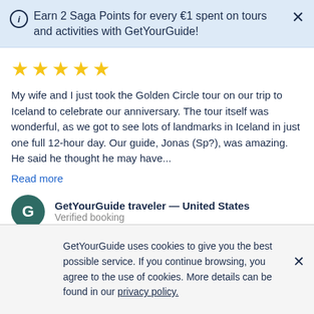Earn 2 Saga Points for every €1 spent on tours and activities with GetYourGuide!
[Figure (other): Five yellow star rating icons]
My wife and I just took the Golden Circle tour on our trip to Iceland to celebrate our anniversary. The tour itself was wonderful, as we got to see lots of landmarks in Iceland in just one full 12-hour day. Our guide, Jonas (Sp?), was amazing. He said he thought he may have...
Read more
GetYourGuide traveler — United States
Verified booking
Helpful?  Yes
GetYourGuide uses cookies to give you the best possible service. If you continue browsing, you agree to the use of cookies. More details can be found in our privacy policy.